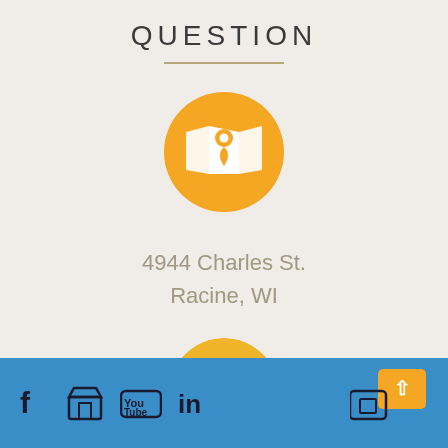QUESTION
[Figure (illustration): Orange circle with white map/location pin icon]
4944 Charles St.
Racine, WI
[Figure (illustration): Yellow-orange circle with white mobile/tablet icon, partially visible at bottom]
Facebook, Store, YouTube, LinkedIn social media icons; back-to-top button icon on right